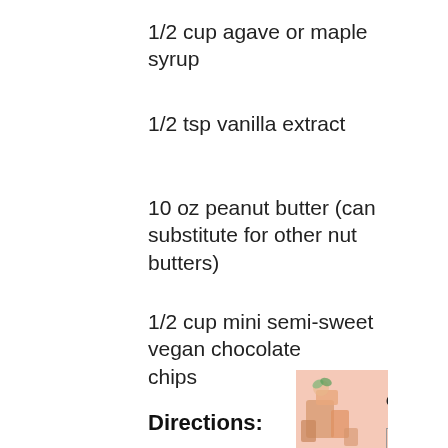1/2 cup agave or maple syrup
1/2 tsp vanilla extract
10 oz peanut butter (can substitute for other nut butters)
1/2 cup mini semi-sweet vegan chocolate chips
[Figure (infographic): Advertisement banner with peach/salmon background showing 'Organic Groceries, Delivered' with Thrive Market logo and 'Get a Free Gift' call to action]
Directions: